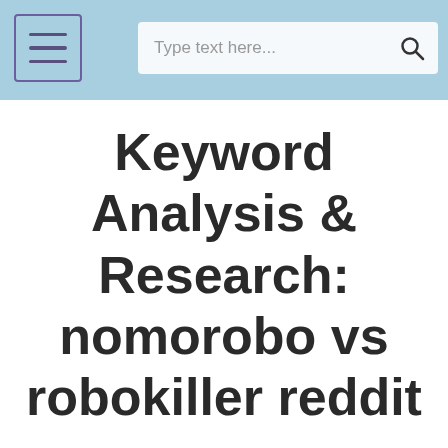Keyword Analysis & Research: nomorobo vs robokiller reddit